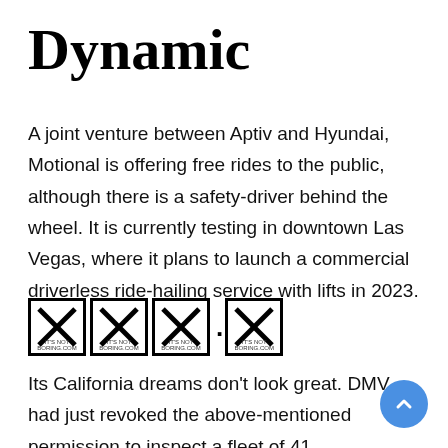Dynamic
A joint venture between Aptiv and Hyundai, Motional is offering free rides to the public, although there is a safety-driver behind the wheel. It is currently testing in downtown Las Vegas, where it plans to launch a commercial driverless ride-hailing service with lifts in 2023.
[Figure (logo): Four square boxes each containing an X mark, followed by a dot and a single X box — forming a logo/rating display with small caption text beneath each box]
Its California dreams don't look great. DMV had just revoked the above-mentioned permission to inspect a fleet of 41 autonomous vehicles,